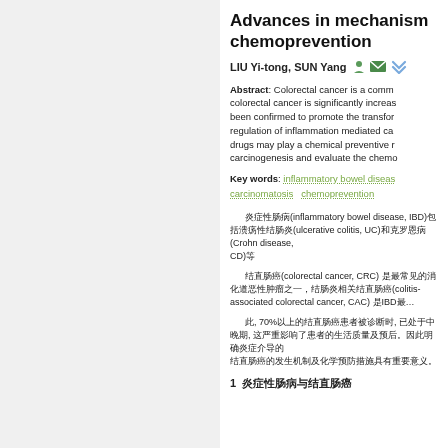Advances in mechanism and chemoprevention
LIU Yi-tong, SUN Yang
Abstract: Colorectal cancer is a comm... colorectal cancer is significantly increas... been confirmed to promote the transfor... regulation of inflammation mediated ca... drugs may play a chemical preventive r... carcinogenesis and evaluate the chemo...
Key words: inflammatory bowel disease; carcinomatosis; chemoprevention
炎症性肠病(inflammatory bowel disease, IBD)包括溃疡性结肠炎(ulcerative colitis, UC)和克罗恩病(Crohn disease, CD)等
结直肠癌(colorectal cancer, CRC) 是最常见的消化道恶性肿瘤之一，结肠炎相关结直肠癌(colitis-associated colorectal cancer, CAC) 是IBD最...
此, 70%以上的结直肠癌患者被诊断时, 已处于中晚期, 这严重影响了患者的生活质量及预后。因此明确炎症介导的结直肠癌的发生机制及化学预防措施具有重要意义。